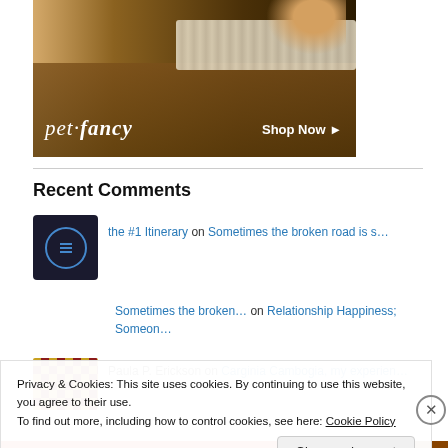[Figure (illustration): Pet Fancy advertisement banner showing a dog on wooden flooring with a rug. Brand name 'pet fancy' in italic white text on left, 'Shop Now ▶' button on right.]
Recent Comments
the #1 Itinerary on Sometimes the broken road is s…
Sometimes the broken… on Relationship Happiness; Someon…
Paula P. Erickson on Carginia Cambogia, my experien…
Privacy & Cookies: This site uses cookies. By continuing to use this website, you agree to their use.
To find out more, including how to control cookies, see here: Cookie Policy
Close and accept